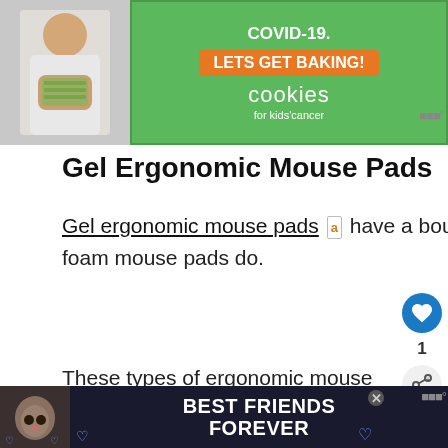[Figure (screenshot): Top advertisement banner for 'Cookies for Kids Cancer' charity with green background, orange 'LETS GET BAKING!' button, and person holding money on left side. Text includes 'COVID-19.' and 'cookies for kids cancer']
Gel Ergonomic Mouse Pads
Gel ergonomic mouse pads [amazon link] have a bouncier cushion. It doesn't hold onto heat as memory foam mouse pads do.
These types of ergonomic mouse pads are made with a soft gel interior. They wrapped in either a silicone-like plastic or le...
[Figure (screenshot): Bottom advertisement banner with dark blue background showing a cat photo on left, text 'BEST FRIENDS FOREVER' in white bold letters with heart icons]